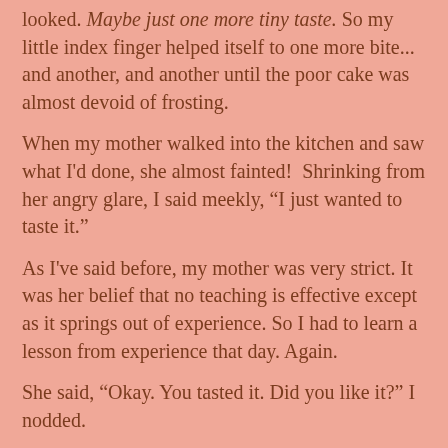looked. Maybe just one more tiny taste. So my little index finger helped itself to one more bite... and another, and another until the poor cake was almost devoid of frosting.
When my mother walked into the kitchen and saw what I'd done, she almost fainted!  Shrinking from her angry glare, I said meekly, “I just wanted to taste it.”
As I've said before, my mother was very strict. It was her belief that no teaching is effective except as it springs out of experience. So I had to learn a lesson from experience that day. Again.
She said, “Okay. You tasted it. Did you like it?” I nodded.
“That’s good, because now you can eat the whole cake – every bite of it – all by yourself!”
That wasn’t good news for me because, although I loved icing, I didn’t care much for cake – especially cake without icing!
Did he...?  Perhaps...